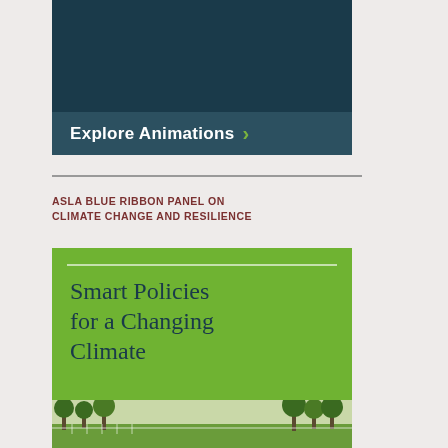[Figure (screenshot): Dark teal banner with 'Explore Animations >' button in lighter teal at the bottom]
ASLA BLUE RIBBON PANEL ON CLIMATE CHANGE AND RESILIENCE
[Figure (illustration): Book cover with green background reading 'Smart Policies for a Changing Climate' with a photo of a park below]
Smart Policies for a Changing Climate